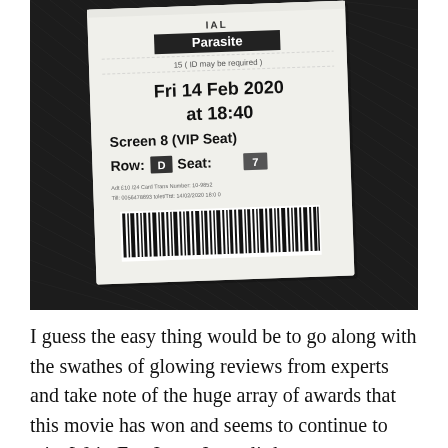[Figure (photo): A black and white photograph of a cinema ticket for the film 'Parasite', showing details: 15 (ID may be required), Fri 14 Feb 2020 at 18:40, Screen 8 (VIP Seat), Row D Seat 7, with a barcode at the bottom. The ticket is placed on a dark fabric (suit jacket) background.]
I guess the easy thing would be to go along with the swathes of glowing reviews from experts and take note of the huge array of awards that this movie has won and seems to continue to win. Wait. For. It. ... Just a little